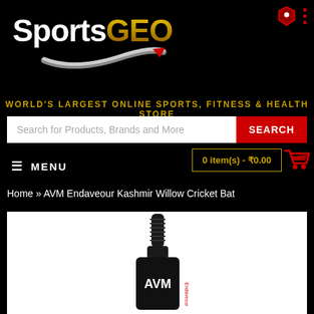[Figure (logo): SportsGEO logo with white 'Sports' text and gold 'GEO' text, red/silver swoosh below]
WORLD'S LARGEST ONLINE SPORTS, FITNESS & HEALTH STORE
Search for Products, Brands and More
SEARCH
☰  MENU
0 item(s) - ₹0.00
Home » AVM Endaveour Kashmir Willow Cricket Bat
[Figure (photo): AVM Endaveour Kashmir Willow Cricket Bat displayed vertically on white background, black bat with white AVM branding]